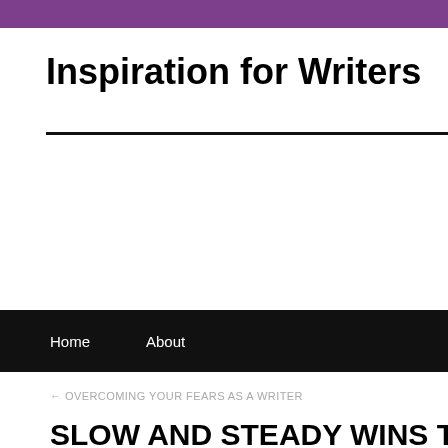Inspiration for Writers
Home   About
← OVERCOMING YOUR FEARS AS A WRITER
SLOW AND STEADY WINS THE RACE